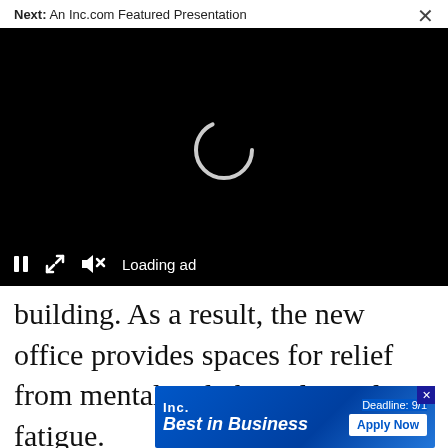Next: An Inc.com Featured Presentation
[Figure (screenshot): Video player with black background showing a loading spinner (partial white circle arc) in the center. Bottom control bar shows pause button, expand icon, muted speaker icon, and 'Loading ad' text.]
building. As a result, the new office provides spaces for relief from mental and physiological fatigue.
[Figure (infographic): Inc. Best in Business advertisement banner. Blue gradient background with Inc. logo and 'Best in Business' text in white italic bold. Right side shows 'Deadline: 9/1' and 'Apply Now' white button. Close X button in top right corner.]